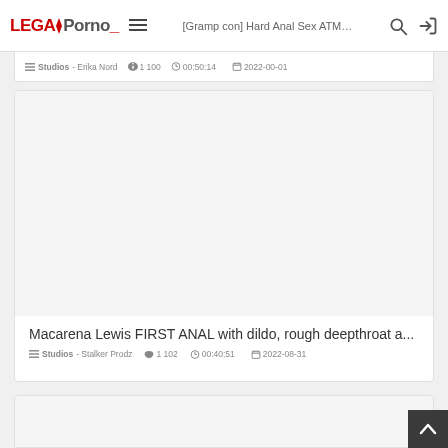LegalPorno — [Gramp con] Hard Anal Sex ATM [search] [login]
Studios - Erika Nord · 1 100 · 00:50:14 · 2022-00-01
[Figure (screenshot): Video thumbnail placeholder (light grey rectangle) for adult content video]
Macarena Lewis FIRST ANAL with dildo, rough deepthroat a...
Studios - Stalker Prodz · 1 102 · 00:40:51 · 2022-08-31
[Figure (screenshot): Partial video thumbnail placeholder (light grey rectangle) at bottom of page]